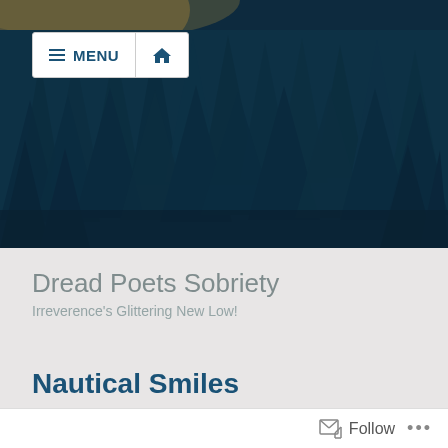[Figure (photo): Hero photograph of a dense forest of tall dark conifer trees with a teal-blue color tint/filter, orange-yellow sky visible at top left corner]
MENU
Dread Poets Sobriety
Irreverence's Glittering New Low!
Nautical Smiles
Follow ...